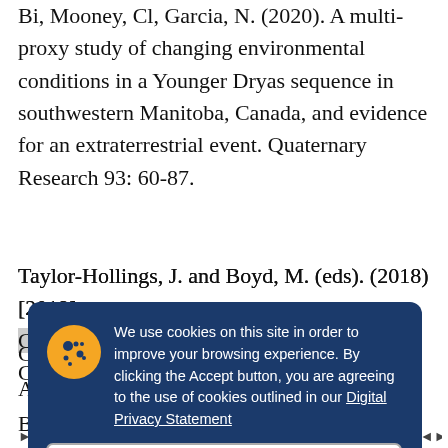Bi, Mooney, Cl, Garcia, N. (2020). A multi-proxy study of changing environmental conditions in a Younger Dryas sequence in southwestern Manitoba, Canada, and evidence for an extraterrestrial event. Quaternary Research 93: 60-87.
Taylor-Hollings, J. and Boyd, M. (eds). (2018) [2019]. Contemporary Perspectives of the Central C... A... A... A...
B... N...
We use cookies on this site in order to improve your browsing experience. By clicking the Accept button, you are agreeing to the use of cookies outlined in our Digital Privacy Statement